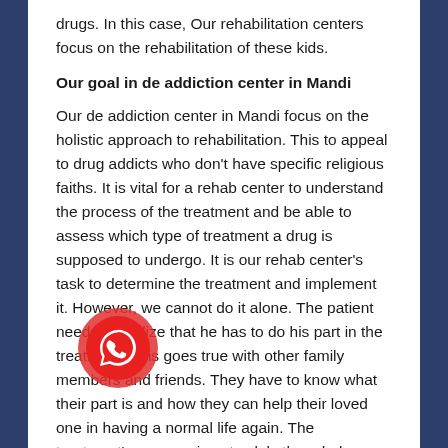drugs. In this case, Our rehabilitation centers focus on the rehabilitation of these kids.
Our goal in de addiction center in Mandi
Our de addiction center in Mandi focus on the holistic approach to rehabilitation. This to appeal to drug addicts who don't have specific religious faiths. It is vital for a rehab center to understand the process of the treatment and be able to assess which type of treatment a drug is supposed to undergo. It is our rehab center's task to determine the treatment and implement it. However, we cannot do it alone. The patient needs to realize that he has to do his part in the treatment. This goes true with other family members and friends. They have to know what their part is and how they can help their loved one in having a normal life again. The treatment's success is not solely the rehab center's but of the patient's, his family's as well.
[Figure (logo): WhatsApp icon - red circular button with white phone handset]